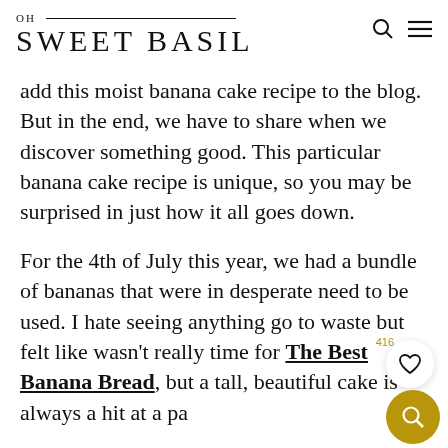OH SWEET BASIL
add this moist banana cake recipe to the blog. But in the end, we have to share when we discover something good. This particular banana cake recipe is unique, so you may be surprised in just how it all goes down.
For the 4th of July this year, we had a bundle of bananas that were in desperate need to be used. I hate seeing anything go to waste but felt like wasn't really time for The Best Banana Bread, but a tall, beautiful cake is always a hit at a pa